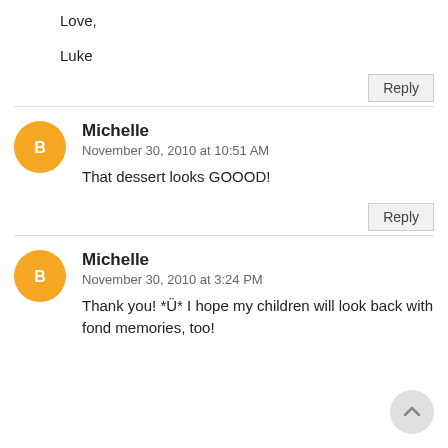Love,

Luke
Reply
Michelle
November 30, 2010 at 10:51 AM
That dessert looks GOOOD!
Reply
Michelle
November 30, 2010 at 3:24 PM
Thank you! *Ü*  I hope  my children will look back with fond memories, too!